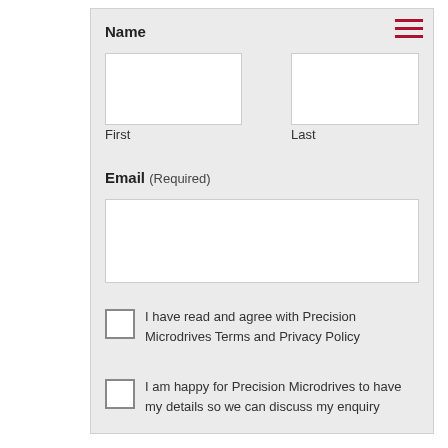Name
First
Last
Email (Required)
I have read and agree with Precision Microdrives Terms and Privacy Policy
I am happy for Precision Microdrives to have my details so we can discuss my enquiry
Submit